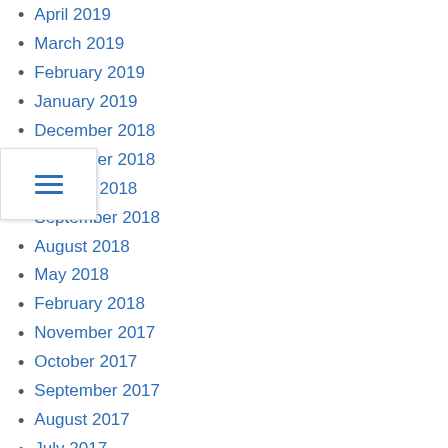April 2019
March 2019
February 2019
January 2019
December 2018
November 2018
October 2018
September 2018
August 2018
May 2018
February 2018
November 2017
October 2017
September 2017
August 2017
July 2017
June 2017
May 2017